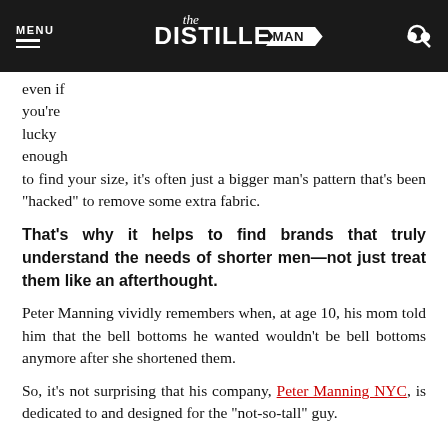MENU | the DISTILLED MAN | [search]
even if you're lucky enough to find your size, it's often just a bigger man's pattern that's been “hacked” to remove some extra fabric.
That’s why it helps to find brands that truly understand the needs of shorter men—not just treat them like an afterthought.
Peter Manning vividly remembers when, at age 10, his mom told him that the bell bottoms he wanted wouldn’t be bell bottoms anymore after she shortened them.
So, it’s not surprising that his company, Peter Manning NYC, is dedicated to and designed for the “not-so-tall” guy.